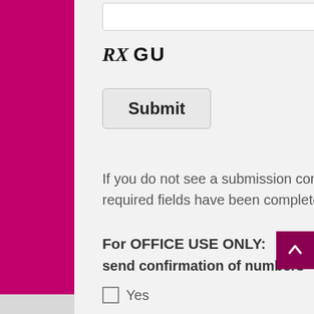[Figure (other): CAPTCHA label showing italic RX followed by bold GU text]
Submit
If you do not see a submission confirmation message please check that all required fields have been completed and try again
For OFFICE USE ONLY:
send confirmation of numbers
Yes